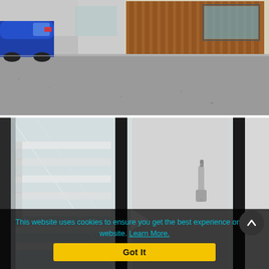[Figure (photo): Outdoor street scene with a blue car parked on the left side, grey asphalt road surface, and a building with wooden cladding and large windows in the background.]
[Figure (photo): Close-up of glass balustrade panels on a modern staircase, with dark metal frames, a silver door handle or latch mechanism visible, and white-painted steps visible through the glass.]
This website uses cookies to ensure you get the best experience on our website. Learn More.
Got It